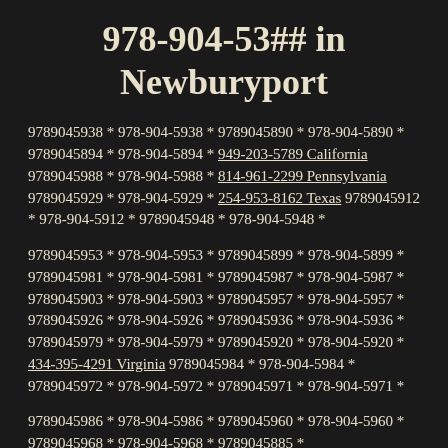978-904-53## in Newburyport
9789045938 * 978-904-5938 * 9789045890 * 978-904-5890 * 9789045894 * 978-904-5894 * 949-203-5789 California 9789045988 * 978-904-5988 * 814-961-2299 Pennsylvania 9789045929 * 978-904-5929 * 254-953-8162 Texas 9789045912 * 978-904-5912 * 9789045948 * 978-904-5948 *
9789045953 * 978-904-5953 * 9789045899 * 978-904-5899 * 9789045981 * 978-904-5981 * 9789045987 * 978-904-5987 * 9789045903 * 978-904-5903 * 9789045957 * 978-904-5957 * 9789045926 * 978-904-5926 * 9789045936 * 978-904-5936 * 9789045979 * 978-904-5979 * 9789045920 * 978-904-5920 * 434-395-4291 Virginia 9789045984 * 978-904-5984 * 9789045972 * 978-904-5972 * 9789045971 * 978-904-5971 *
9789045986 * 978-904-5986 * 9789045960 * 978-904-5960 * 9789045968 * 978-904-5968 * 9789045885 *